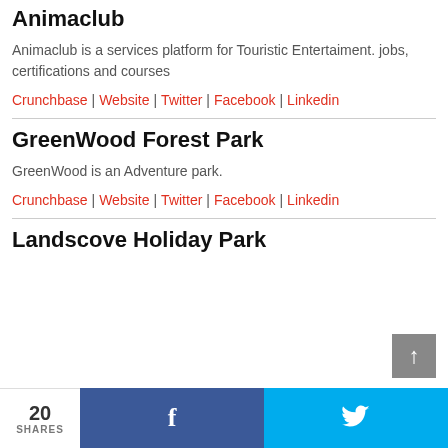Animaclub
Animaclub is a services platform for Touristic Entertaiment. jobs, certifications and courses
Crunchbase | Website | Twitter | Facebook | Linkedin
GreenWood Forest Park
GreenWood is an Adventure park.
Crunchbase | Website | Twitter | Facebook | Linkedin
Landscove Holiday Park
20 SHARES  f  🐦